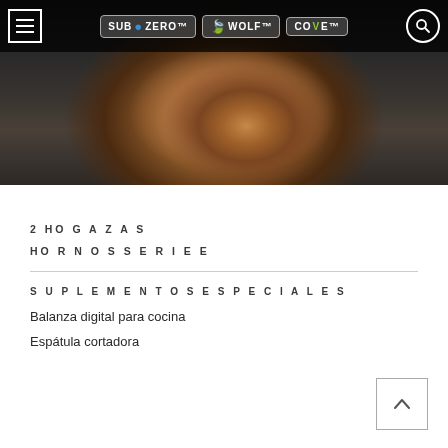[Figure (photo): Close-up photo of a rustic sourdough bread loaf in a red Dutch oven with white enamel interior, on a dark stone surface. Navigation bar with Sub-Zero, Wolf, Cove logos overlaid at top.]
2 HOGAZAS
HORNOS SERIE E
SUPLEMENTOS ESPECIALES
Balanza digital para cocina
Espátula cortadora